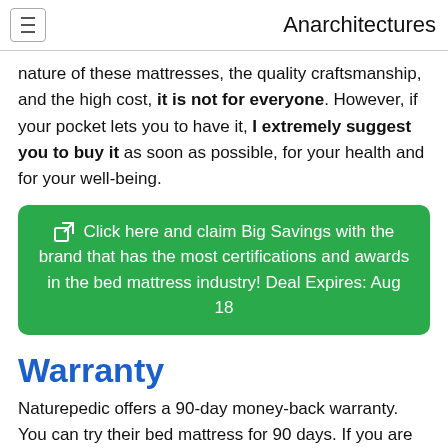Anarchitectures
nature of these mattresses, the quality craftsmanship, and the high cost, it is not for everyone. However, if your pocket lets you to have it, I extremely suggest you to buy it as soon as possible, for your health and for your well-being.
Click here and claim Big Savings with the brand that has the most certifications and awards in the bed mattress industry! Deal Expires: Aug 18
Warranty
Naturepedic offers a 90-day money-back warranty. You can try their bed mattress for 90 days. If you are not totally